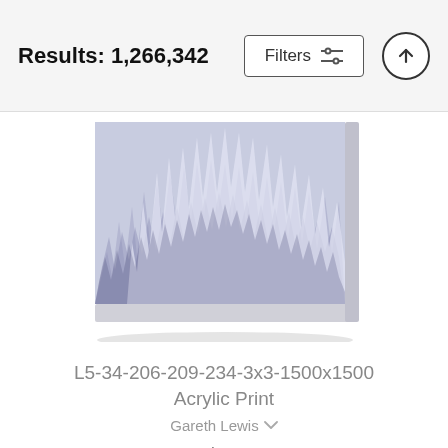Results: 1,266,342
[Figure (screenshot): Abstract blue-gray layered acrylic print artwork displayed on a canvas with shadow]
L5-34-206-209-234-3x3-1500x1500 Acrylic Print
Gareth Lewis
$73
[Figure (photo): Partial view of a painting showing a building with arches and trees, partially cut off at the bottom of the page]